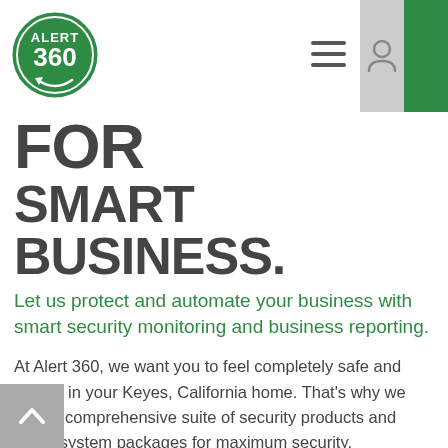[Figure (logo): Alert 360 logo — green circle with white text 'ALERT 360' and a circular arrow]
FOR SMART BUSINESS.
Let us protect and automate your business with smart security monitoring and business reporting.
At Alert 360, we want you to feel completely safe and secure in your Keyes, California home. That's why we offer a comprehensive suite of security products and alarm system packages for maximum security, convenience, and peace of mind. Get wired or wireless security cameras, life safety products, automation devices, and motion sensors installed in strategic locations around your property! Then, with Alert 360's convenient